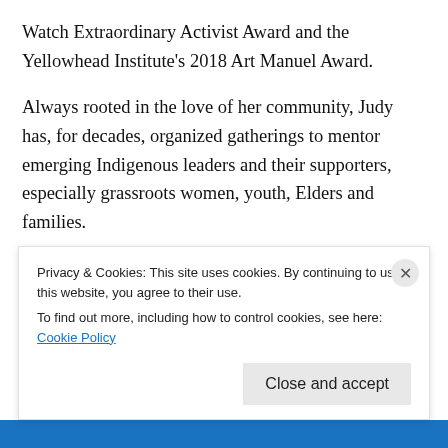Watch Extraordinary Activist Award and the Yellowhead Institute's 2018 Art Manuel Award.
Always rooted in the love of her community, Judy has, for decades, organized gatherings to mentor emerging Indigenous leaders and their supporters, especially grassroots women, youth, Elders and families.
She does this with commitment and humility, creating atmospheres where everyonepresent feels valued, loved, supported,connected to their land and culture, and confident in their...
Privacy & Cookies: This site uses cookies. By continuing to use this website, you agree to their use. To find out more, including how to control cookies, see here: Cookie Policy
Close and accept